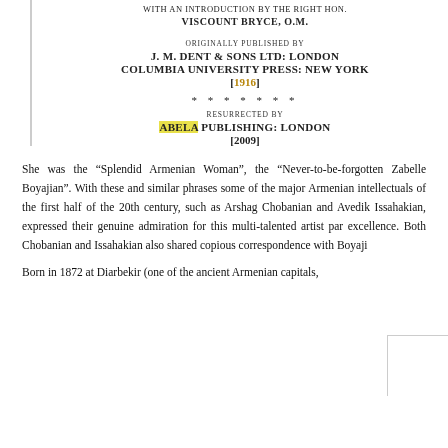WITH AN INTRODUCTION BY THE RIGHT HON. VISCOUNT BRYCE, O.M.
ORIGINALLY PUBLISHED BY
J. M. DENT & SONS LTD: LONDON
COLUMBIA UNIVERSITY PRESS: NEW YORK
[1916]
* * * * * * *
RESURRECTED BY
ABELA PUBLISHING: LONDON
[2009]
She was the “Splendid Armenian Woman”, the “Never-to-be-forgotten Zabelle Boyajian”. With these and similar phrases some of the major Armenian intellectuals of the first half of the 20th century, such as Arshag Chobanian and Avedik Issahakian, expressed their genuine admiration for this multi-talented artist par excellence. Both Chobanian and Issahakian also shared copious correspondence with Boyaji
Born in 1872 at Diarbekir (one of the ancient Armenian capitals,